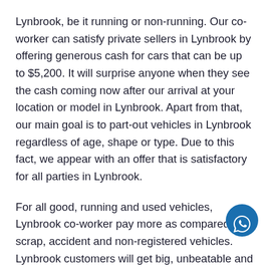Lynbrook, be it running or non-running. Our co-worker can satisfy private sellers in Lynbrook by offering generous cash for cars that can be up to $5,200. It will surprise anyone when they see the cash coming now after our arrival at your location or model in Lynbrook. Apart from that, our main goal is to part-out vehicles in Lynbrook regardless of age, shape or type. Due to this fact, we appear with an offer that is satisfactory for all parties in Lynbrook.
For all good, running and used vehicles, Lynbrook co-worker pay more as compared to scrap, accident and non-registered vehicles. Lynbrook customers will get big, unbeatable and best cash for cars Lynbrook ser... After buying cars in Lynbrook, we used them for recycling and disposing purpose.